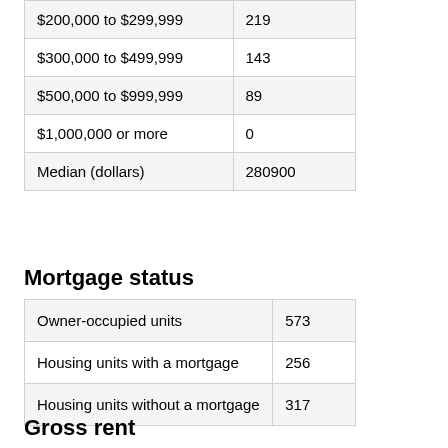| $200,000 to $299,999 | 219 |
| $300,000 to $499,999 | 143 |
| $500,000 to $999,999 | 89 |
| $1,000,000 or more | 0 |
| Median (dollars) | 280900 |
Mortgage status
| Owner-occupied units | 573 |
| Housing units with a mortgage | 256 |
| Housing units without a mortgage | 317 |
Gross rent